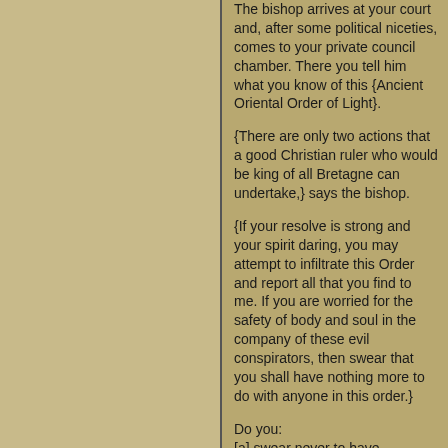The bishop arrives at your court and, after some political niceties, comes to your private council chamber. There you tell him what you know of this {Ancient Oriental Order of Light}.
{There are only two actions that a good Christian ruler who would be king of all Bretagne can undertake,} says the bishop.
{If your resolve is strong and your spirit daring, you may attempt to infiltrate this Order and report all that you find to me. If you are worried for the safety of body and soul in the company of these evil conspirators, then swear that you shall have nothing more to do with anyone in this order.}
Do you:
[a] swear never to have